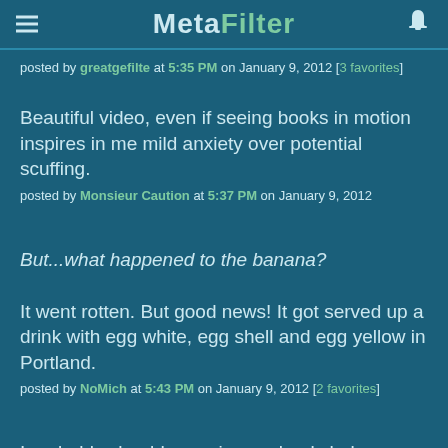MetaFilter
posted by greatgefilte at 5:35 PM on January 9, 2012 [3 favorites]
Beautiful video, even if seeing books in motion inspires in me mild anxiety over potential scuffing.
posted by Monsieur Caution at 5:37 PM on January 9, 2012
But...what happened to the banana?
It went rotten. But good news! It got served up a drink with egg white, egg shell and egg yellow in Portland.
posted by NoMich at 5:43 PM on January 9, 2012 [2 favorites]
I probably should organize my bookshelves chromatically, because there is not other organizational program going